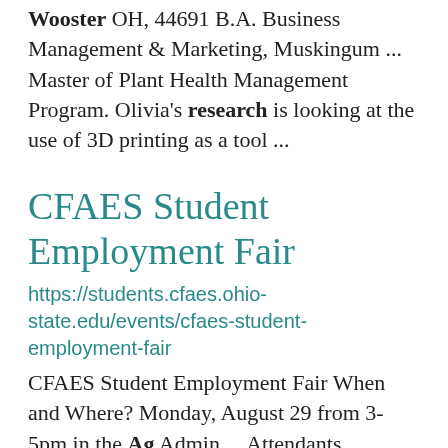Wooster OH, 44691 B.A. Business Management & Marketing, Muskingum ... Master of Plant Health Management Program. Olivia's research is looking at the use of 3D printing as a tool ...
CFAES Student Employment Fair
https://students.cfaes.ohio-state.edu/events/cfaes-student-employment-fair
CFAES Student Employment Fair When and Where? Monday, August 29 from 3-5pm in the Ag Admin ... Attendants Research Assistants Interns Part-Time Help Any other CFAES student jobs  No resumes needed. Come ... Career